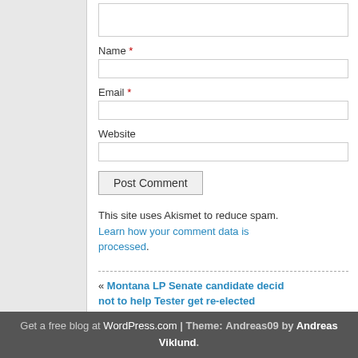Name *
Email *
Website
Post Comment
This site uses Akismet to reduce spam. Learn how your comment data is processed.
« Montana LP Senate candidate decided not to help Tester get re-elected
Thank you, vetera
Get a free blog at WordPress.com | Theme: Andreas09 by Andreas Viklund.